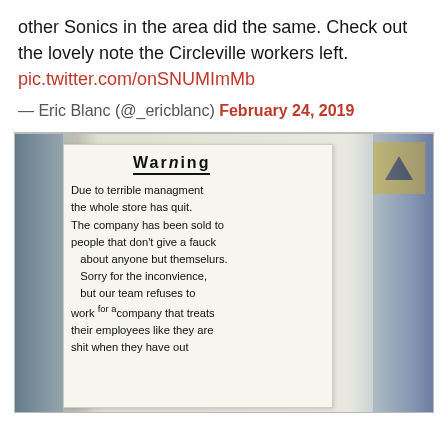other Sonics in the area did the same. Check out the lovely note the Circleville workers left. pic.twitter.com/onSNUMImMb
— Eric Blanc (@_ericblanc) February 24, 2019
[Figure (photo): Photo of a handwritten note on white paper with 'Warning' underlined at the top. Text reads: 'Due to terrible managment the whole store has quit. The company has been sold to people that don't give a fauck about anyone but themselurs. Sorry for the inconvience, but our team refuses to work for a company that treats their employees like they are shit when they have out'. A yellow square with a black triangle (warning symbol) is in the upper right corner.]